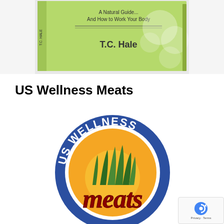[Figure (photo): Book cover of a health/wellness book by T.C. Hale with green cover, subtitle 'A Natural Guide ... And How to Work Your Body', light green background with circular design elements]
US Wellness Meats
[Figure (logo): US Wellness Meats circular logo with blue outer ring displaying 'US WELLNESS' text in white, orange/yellow sunburst center with green grass illustration, red 'meats' script text across the bottom]